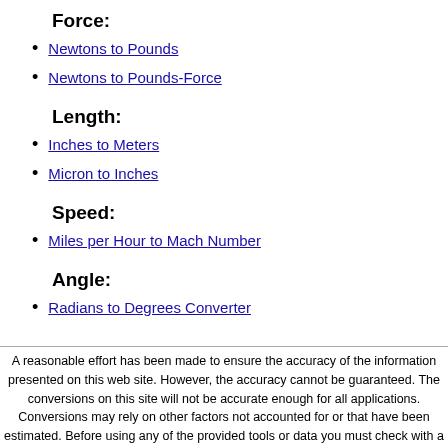Force:
Newtons to Pounds
Newtons to Pounds-Force
Length:
Inches to Meters
Micron to Inches
Speed:
Miles per Hour to Mach Number
Angle:
Radians to Degrees Converter
A reasonable effort has been made to ensure the accuracy of the information presented on this web site. However, the accuracy cannot be guaranteed. The conversions on this site will not be accurate enough for all applications. Conversions may rely on other factors not accounted for or that have been estimated. Before using any of the provided tools or data you must check with a competent authority to validate its correctness. KylesConverter.com is not responsible for any inaccurate data provided. To learn how we use any data collected on your experience, please read our Contact us this site and how